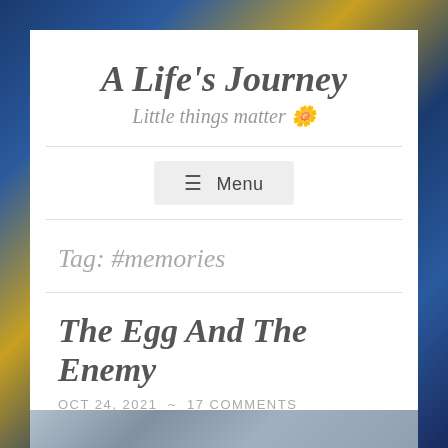A Life's Journey
Little things matter 🌼
≡ Menu
Tag: #memories
The Egg And The Enemy
OCT 24, 2021 ~ 17 COMMENTS